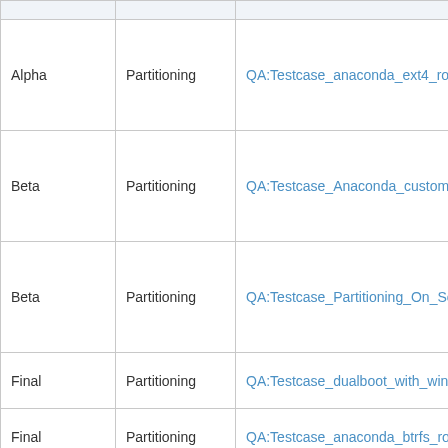|  | Partitioning |  |
| --- | --- | --- |
| Alpha | Partitioning | QA:Testcase_anaconda_ext4_rootfs_on... |
| Beta | Partitioning | QA:Testcase_Anaconda_custom_partit... |
| Beta | Partitioning | QA:Testcase_Partitioning_On_Softwar... |
| Final | Partitioning | QA:Testcase_dualboot_with_windows |
| Final | Partitioning | QA:Testcase_anaconda_btrfs_rootfs_o... |
| Final | Partitioning | QA:Testcase_anaconda_ext3_rootfs_on... |